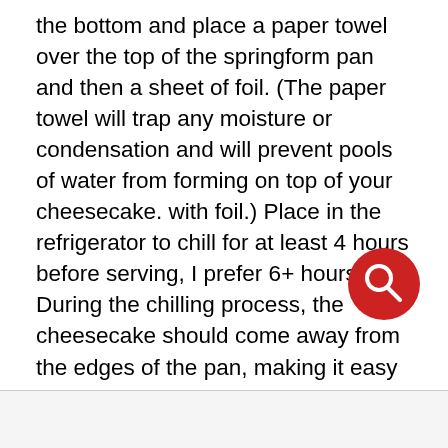the bottom and place a paper towel over the top of the springform pan and then a sheet of foil. (The paper towel will trap any moisture or condensation and will prevent pools of water from forming on top of your cheesecake. with foil.) Place in the refrigerator to chill for at least 4 hours before serving, I prefer 6+ hours. During the chilling process, the cheesecake should come away from the edges of the pan, making it easy and mess-free to remove it before serving.
[Figure (other): Red circular search button with white magnifying glass icon]